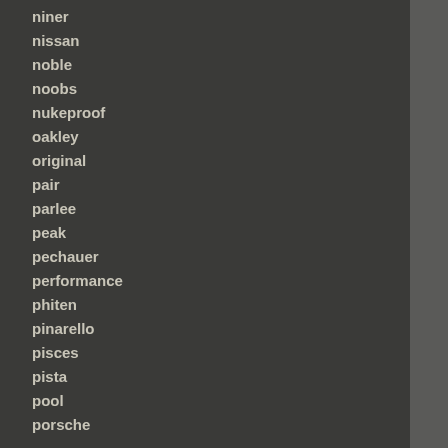niner
nissan
noble
noobs
nukeproof
oakley
original
pair
parlee
peak
pechauer
performance
phiten
pinarello
pisces
pista
pool
porsche